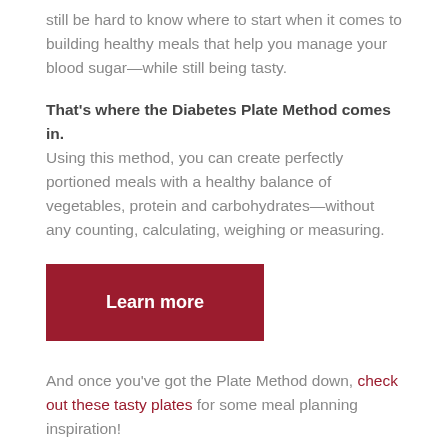still be hard to know where to start when it comes to building healthy meals that help you manage your blood sugar—while still being tasty.
That's where the Diabetes Plate Method comes in. Using this method, you can create perfectly portioned meals with a healthy balance of vegetables, protein and carbohydrates—without any counting, calculating, weighing or measuring.
[Figure (other): Red button labeled 'Learn more']
And once you've got the Plate Method down, check out these tasty plates for some meal planning inspiration!